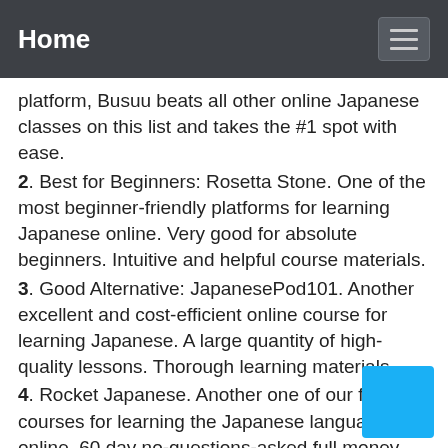Home
platform, Busuu beats all other online Japanese classes on this list and takes the #1 spot with ease.
2. Best for Beginners: Rosetta Stone. One of the most beginner-friendly platforms for learning Japanese online. Very good for absolute beginners. Intuitive and helpful course materials.
3. Good Alternative: JapanesePod101. Another excellent and cost-efficient online course for learning Japanese. A large quantity of high-quality lessons. Thorough learning materials.
4. Rocket Japanese. Another one of our favorite courses for learning the Japanese language online. 60 day no-questions-asked full money back guarantee. Balances speaking, grammar, writing, and listening better than other Japanese courses.
5. Pimsleur Japanese. A great online Japanse course for